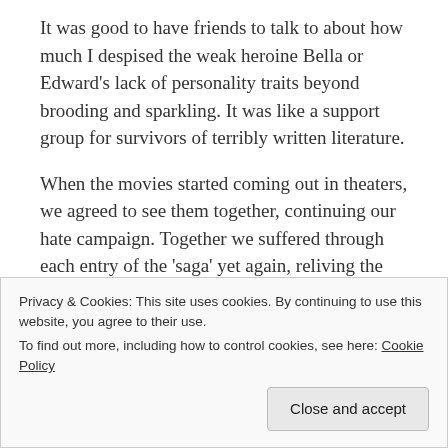It was good to have friends to talk to about how much I despised the weak heroine Bella or Edward's lack of personality traits beyond brooding and sparkling. It was like a support group for survivors of terribly written literature.
When the movies started coming out in theaters, we agreed to see them together, continuing our hate campaign. Together we suffered through each entry of the 'saga' yet again, reliving the sanitized romance through our eyeballs. Finally, the last installment, Breaking Dawn Part 2, arrived in theaters and we had
Privacy & Cookies: This site uses cookies. By continuing to use this website, you agree to their use.
To find out more, including how to control cookies, see here: Cookie Policy
Close and accept